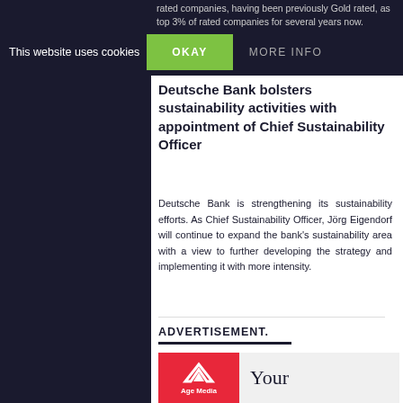rated companies, having been previously Gold rated, as top 3% of rated companies for several years now.
This website uses cookies
OKAY
MORE INFO
Deutsche Bank bolsters sustainability activities with appointment of Chief Sustainability Officer
Deutsche Bank is strengthening its sustainability efforts. As Chief Sustainability Officer, Jörg Eigendorf will continue to expand the bank's sustainability area with a view to further developing the strategy and implementing it with more intensity.
ADVERTISEMENT.
[Figure (logo): Age Media logo — red box with white stylised mountain/arrow mark and text 'Age Media' below]
Your